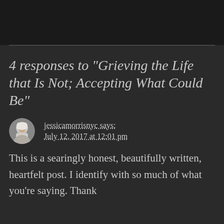4 responses to “Grieving the Life that Is Not; Accepting What Could Be”
jessicamorrisnyc says: July 12, 2017 at 12:01 pm
This is a searingly honest, beautifully written, heartfelt post. I identify with so much of what you’re saying. Thank